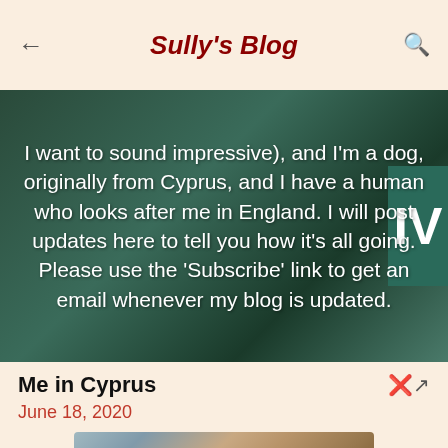Sully's Blog
[Figure (photo): A photo of a street sign in Cyprus with overlay text describing the blog. Text reads: I want to sound impressive), and I'm a dog, originally from Cyprus, and I have a human who looks after me in England. I will post updates here to tell you how it's all going. Please use the 'Subscribe' link to get an email whenever my blog is updated.]
I want to sound impressive), and I'm a dog, originally from Cyprus, and I have a human who looks after me in England. I will post updates here to tell you how it's all going. Please use the 'Subscribe' link to get an email whenever my blog is updated.
Me in Cyprus
June 18, 2020
[Figure (photo): A photo of a dog (beagle type) in Cyprus, seen from the front, with a cage/fence behind it and blue sky.]